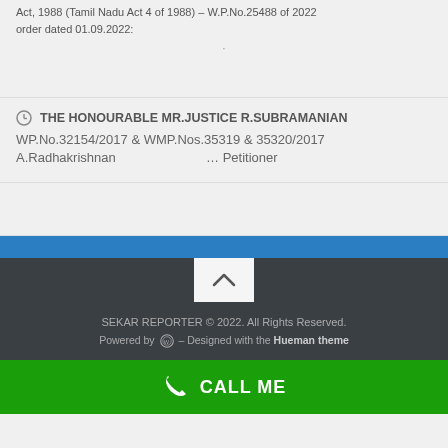Act, 1988 (Tamil Nadu Act 4 of 1988) – W.P.No.25488 of 2022 order dated 01.09.2022:
THE HONOURABLE MR.JUSTICE R.SUBRAMANIAN
WP.No.32154/2017 & WMP.Nos.35319 & 35320/2017
A.Radhakrishnan ... Petitioner
SEKAR REPORTER © 2022. All Rights Reserved. Powered by WordPress – Designed with the Hueman theme
CALL ME